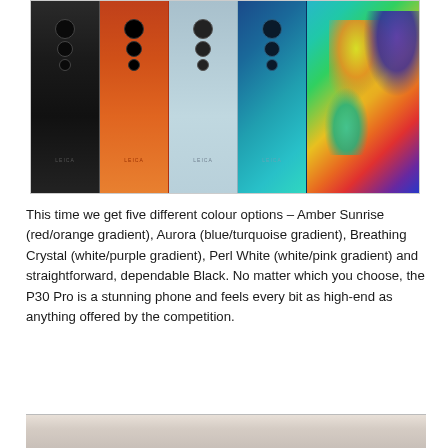[Figure (photo): Five Huawei P30 Pro smartphones arranged side by side showing their rear panels in different colours: Black, Amber Sunrise (red/orange gradient), a lighter blue/grey, Aurora (blue/turquoise gradient), and a phone displaying an abstract colourful artwork on its back.]
This time we get five different colour options – Amber Sunrise (red/orange gradient), Aurora (blue/turquoise gradient), Breathing Crystal (white/purple gradient), Perl White (white/pink gradient) and straightforward, dependable Black. No matter which you choose, the P30 Pro is a stunning phone and feels every bit as high-end as anything offered by the competition.
[Figure (photo): Partial view of what appears to be a Huawei smartphone on a light/white background, showing the top portion of the device.]